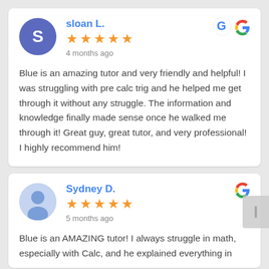sloan L.
4 months ago
Blue is an amazing tutor and very friendly and helpful! I was struggling with pre calc trig and he helped me get through it without any struggle. The information and knowledge finally made sense once he walked me through it! Great guy, great tutor, and very professional! I highly recommend him!
Sydney D.
5 months ago
Blue is an AMAZING tutor! I always struggle in math, especially with Calc, and he explained everything in